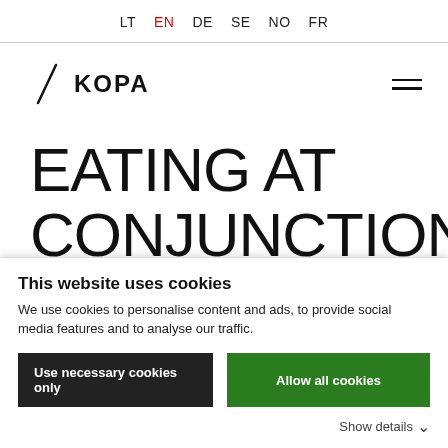LT  EN  DE  SE  NO  FR
[Figure (logo): KOPA logo with diagonal slash mark and bold KOPA text]
EATING AT CONJUNCTIONS
This website uses cookies
We use cookies to personalise content and ads, to provide social media features and to analyse our traffic.
Use necessary cookies only | Allow all cookies
Show details